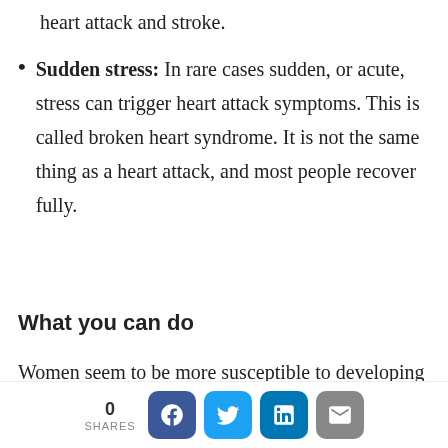heart attack and stroke.
Sudden stress: In rare cases sudden, or acute, stress can trigger heart attack symptoms. This is called broken heart syndrome. It is not the same thing as a heart attack, and most people recover fully.
What you can do
Women seem to be more susceptible to developing heart problems in the face of emotional stress. But for everyone, the crucial point is that stress makes the heart work harder
0 SHARES